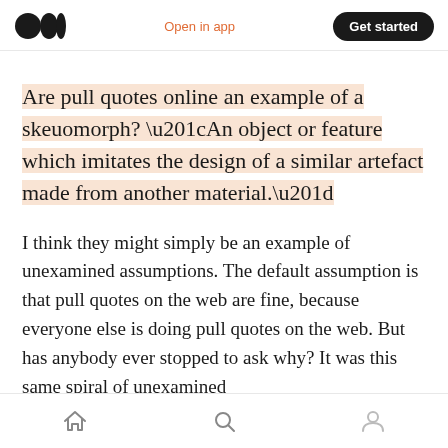Medium logo | Open in app | Get started
Are pull quotes online an example of a skeuomorph? “An object or feature which imitates the design of a similar artefact made from another material.”
I think they might simply be an example of unexamined assumptions. The default assumption is that pull quotes on the web are fine, because everyone else is doing pull quotes on the web. But has anybody ever stopped to ask why? It was this same spiral of unexamined
Home | Search | Profile